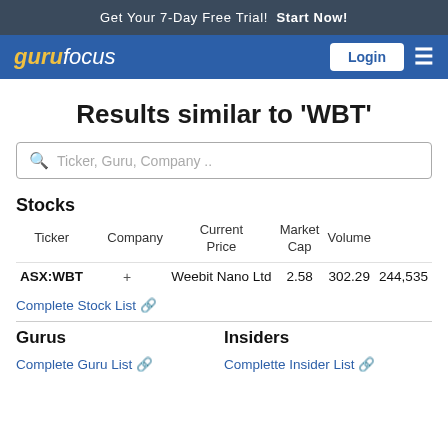Get Your 7-Day Free Trial!  Start Now!
gurufocus  Login ☰
Results similar to 'WBT'
Stocks
| Ticker | Company | Current Price | Market Cap | Volume |
| --- | --- | --- | --- | --- |
| ASX:WBT | +  Weebit Nano Ltd | 2.58 | 302.29 | 244,535 |
Complete Stock List 🔗
Gurus
Insiders
Complete Guru List 🔗
Complette Insider List 🔗